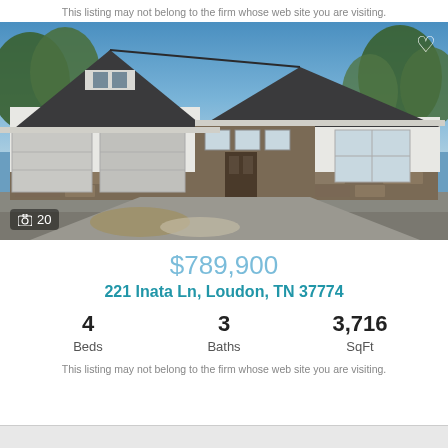This listing may not belong to the firm whose web site you are visiting.
[Figure (photo): Exterior photo of a new construction craftsman-style house under construction with white siding, dark roof, stone accents, and a two-car garage. Surrounded by trees with a blue sky.]
$789,900
221 Inata Ln, Loudon, TN 37774
4 Beds   3 Baths   3,716 SqFt
This listing may not belong to the firm whose web site you are visiting.